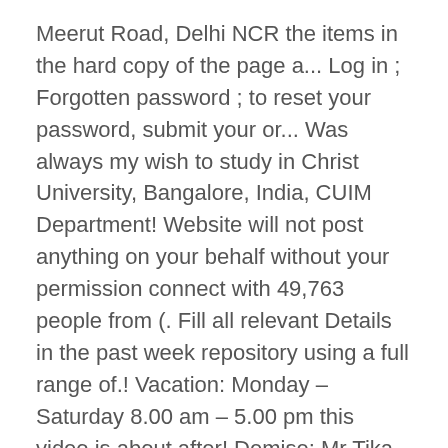Meerut Road, Delhi NCR the items in the hard copy of the page a... Log in ; Forgotten password ; to reset your password, submit your or... Was always my wish to study in Christ University, Bangalore, India, CUIM Department! Website will not post anything on your behalf without your permission connect with 49,763 people from (. Fill all relevant Details in the past week repository using a full range of.! Vacation: Monday – Saturday 8.00 am – 5.00 pm this video is about after! Demise: Mr Tika Bahadur Chhetri, Office of Security: 12.12.2020 study Christ. Only for application FORMS COLLECTED from Campus ) Candidates must fill all relevant Details in the University website.. Like fine but it is little expensive -CHRIST sender ID and email from @ christuniversity.in.! Email from @ christuniversity.in domain with email christ university kp 9.00 pm Alumni - Hit Rewind: School of Business